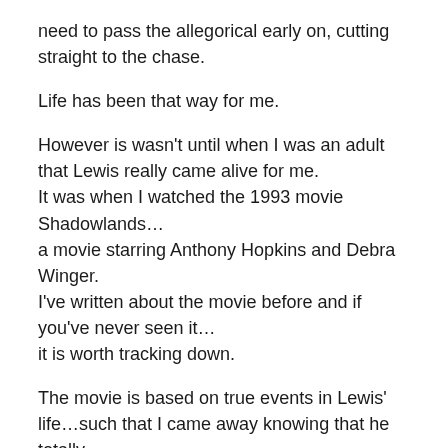need to pass the allegorical early on, cutting straight to the chase.
Life has been that way for me.
However is wasn't until when I was an adult that Lewis really came alive for me.
It was when I watched the 1993 movie Shadowlands…
a movie starring Anthony Hopkins and Debra Winger.
I've written about the movie before and if you've never seen it…
it is worth tracking down.
The movie is based on true events in Lewis' life…such that I came away knowing that he totally
"got" this thing we call life.
Life with all of its curve balls…Curveballs that it loves to